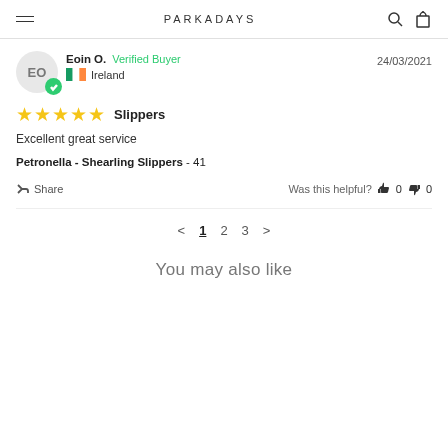PARKADAYS
Eoin O.  Verified Buyer  24/03/2021  Ireland
★★★★★  Slippers
Excellent great service
Petronella - Shearling Slippers  - 41
Share  Was this helpful?  👍 0  👎 0
< 1 2 3 >
You may also like